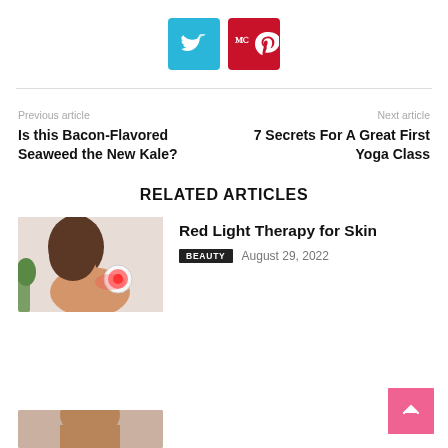[Figure (other): Twitter and Pinterest social share buttons]
Previous article
Is this Bacon-Flavored Seaweed the New Kale?
Next article
7 Secrets For A Great First Yoga Class
RELATED ARTICLES
[Figure (photo): Person using red light therapy device on neck/shoulder]
Red Light Therapy for Skin
BEAUTY  August 29, 2022
[Figure (photo): Partial thumbnail of another related article (cut off at bottom)]